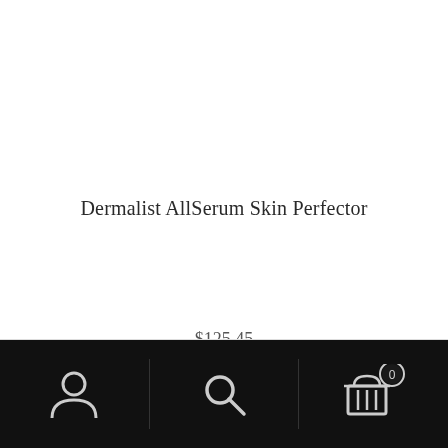Dermalist AllSerum Skin Perfector
$125.45
[Figure (screenshot): Mobile e-commerce app bottom navigation bar with three icons on black background: user/profile icon on left, search (magnifying glass) icon in center, and shopping cart icon with badge showing '0' on right. Vertical dividers separate the three sections.]